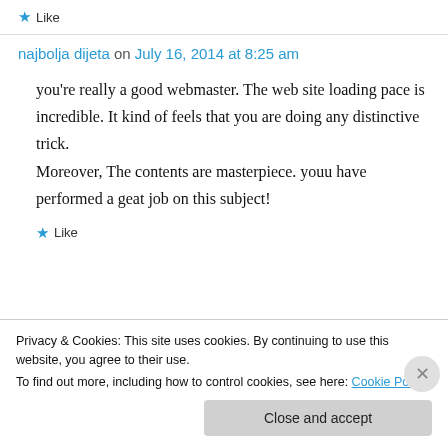Like
najbolja dijeta on July 16, 2014 at 8:25 am
you're really a good webmaster. The web site loading pace is incredible. It kind of feels that you are doing any distinctive trick. Moreover, The contents are masterpiece. youu have performed a geat job on this subject!
Like
Privacy & Cookies: This site uses cookies. By continuing to use this website, you agree to their use.
To find out more, including how to control cookies, see here: Cookie Policy